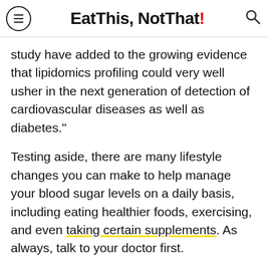Eat This, Not That!
study have added to the growing evidence that lipidomics profiling could very well usher in the next generation of detection of cardiovascular diseases as well as diabetes."
Testing aside, there are many lifestyle changes you can make to help manage your blood sugar levels on a daily basis, including eating healthier foods, exercising, and even taking certain supplements. As always, talk to your doctor first.
[Figure (logo): Eat This, Not That! logo in large bold black text with red exclamation mark]